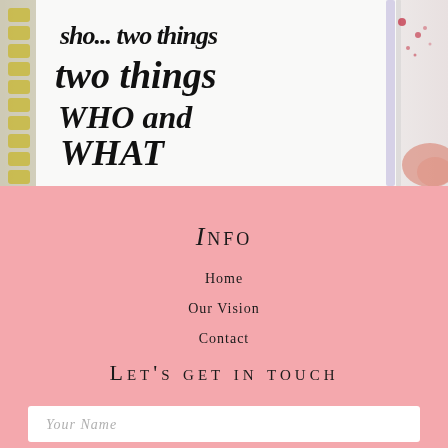[Figure (photo): Close-up photo of a spiral notebook with handwritten lettering text reading 'two things WHO and WHAT wants.' with a pen visible on the right side]
Info
Home
Our Vision
Contact
Let's get in touch
Your Name